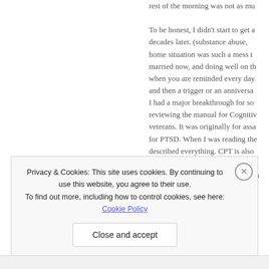rest of the morning was not as mu

To be honest, I didn't start to get a decades later. (substance abuse, home situation was such a mess t married now, and doing well on th when you are reminded every day and then a trigger or an anniversa I had a major breakthrough for so reviewing the manual for Cognitiv veterans. It was originally for assa for PTSD. When I was reading the described everything. CPT is also thought patterns and challenge a traps. I really saw how the arc of m
Privacy & Cookies: This site uses cookies. By continuing to use this website, you agree to their use.
To find out more, including how to control cookies, see here: Cookie Policy
Close and accept